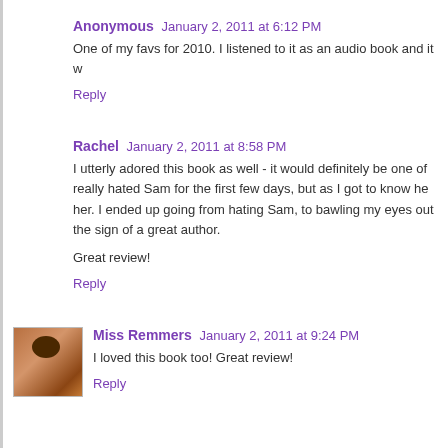Anonymous  January 2, 2011 at 6:12 PM
One of my favs for 2010. I listened to it as an audio book and it w
Reply
Rachel  January 2, 2011 at 8:58 PM
I utterly adored this book as well - it would definitely be one of... really hated Sam for the first few days, but as I got to know he... her. I ended up going from hating Sam, to bawling my eyes out... the sign of a great author.
Great review!
Reply
Miss Remmers  January 2, 2011 at 9:24 PM
I loved this book too! Great review!
Reply